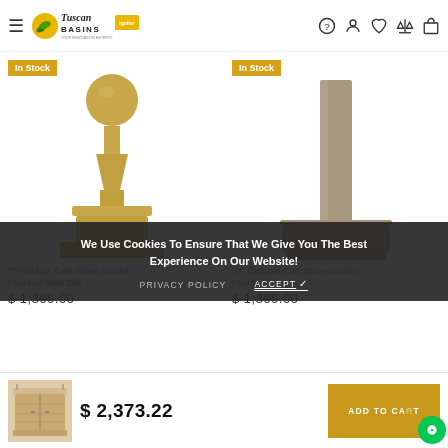Tuscan Basins - Navigation header with hamburger menu, logo, and icons
[Figure (screenshot): Left product: fountain sculpture with ball on top, sand/beige cast stone color, with 'In Stock' badge]
[Figure (screenshot): Right product: tall rectangular pillar fountain, grey/taupe cast stone, with 'In Stock' badge]
We Use Cookies To Ensure That We Give You The Best Experience On Our Website!
PRIVACY POLICY   ACCEPT ✓
"I" Outdoor Cast Stone Garden Fountain With Ball
$ 1,399.00
"U" Outdoor Cast Stone Garden Fountain
$ 1,399.00
[Figure (photo): Small product image of a wood/white vanity]
$ 2,373.22
ADD TO CART